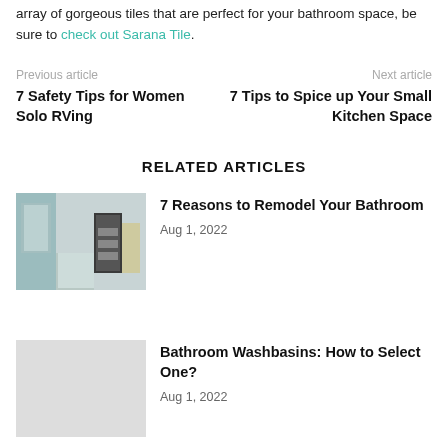array of gorgeous tiles that are perfect for your bathroom space, be sure to check out Sarana Tile.
Previous article | Next article
7 Safety Tips for Women Solo RVing
7 Tips to Spice up Your Small Kitchen Space
RELATED ARTICLES
[Figure (photo): Bathroom interior with blue-grey tiled walls, walk-in shower, and dark vanity cabinets with white doors]
7 Reasons to Remodel Your Bathroom
Aug 1, 2022
Bathroom Washbasins: How to Select One?
Aug 1, 2022